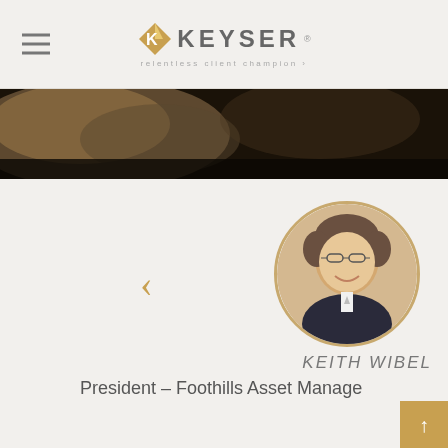KEYSER — relentless client champion
[Figure (photo): Dark banner image with clouds/landscape]
[Figure (photo): Circular headshot of Keith Wibel, a middle-aged man with glasses and a suit, smiling]
KEITH WIBEL
President – Foothills Asset Manage